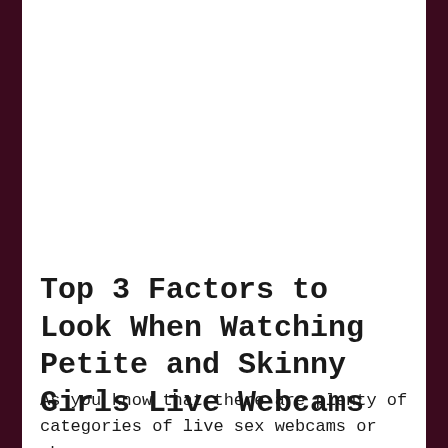Top 3 Factors to Look When Watching Petite and Skinny Girls Live Webcams
As you know that there are plenty of categories of live sex webcams or shows